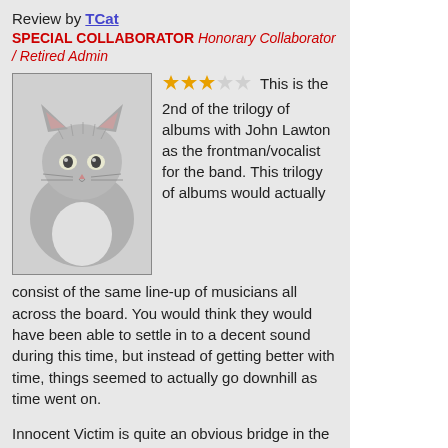Review by TCat
SPECIAL COLLABORATOR Honorary Collaborator / Retired Admin
[Figure (photo): Black and white photo of a fluffy cat looking at the camera]
★★★☆☆ This is the 2nd of the trilogy of albums with John Lawton as the frontman/vocalist for the band. This trilogy of albums would actually consist of the same line-up of musicians all across the board. You would think they would have been able to settle in to a decent sound during this time, but instead of getting better with time, things seemed to actually go downhill as time went on.
Innocent Victim is quite an obvious bridge in the middle that spans the first and third album in this trilogy. Starting off where "Firefly" left off, the album begins with some decent rockers, but none of